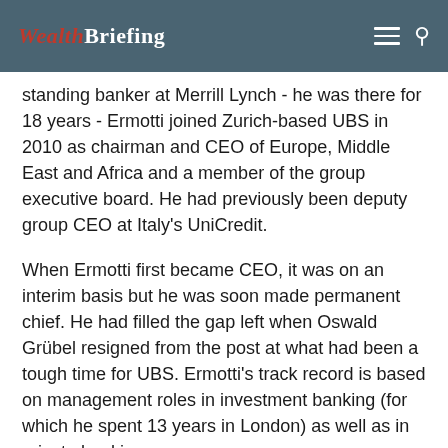WealthBriefing
standing banker at Merrill Lynch - he was there for 18 years - Ermotti joined Zurich-based UBS in 2010 as chairman and CEO of Europe, Middle East and Africa and a member of the group executive board. He had previously been deputy group CEO at Italy's UniCredit.
When Ermotti first became CEO, it was on an interim basis but he was soon made permanent chief. He had filled the gap left when Oswald Grübel resigned from the post at what had been a tough time for UBS. Ermotti's track record is based on management roles in investment banking (for which he spent 13 years in London) as well as in private banking.